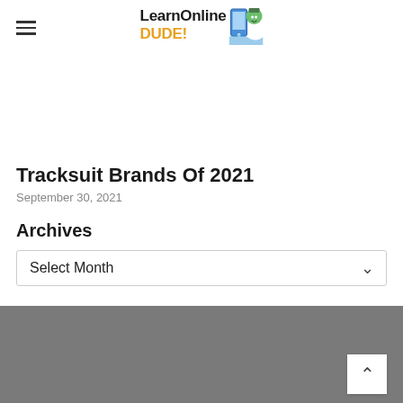LearnOnlineDUDE! (logo/header with hamburger menu)
Tracksuit Brands Of 2021
September 30, 2021
Archives
Select Month